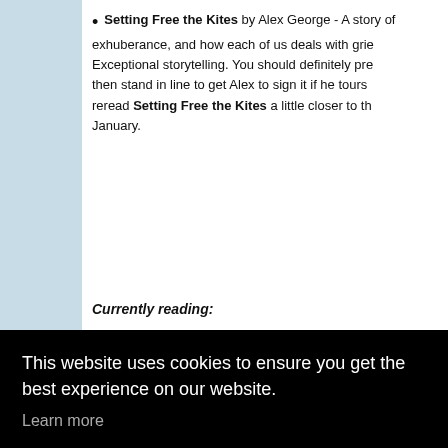Setting Free the Kites by Alex George - A story of exhuberance, and how each of us deals with grief. Exceptional storytelling. You should definitely pre-order, then stand in line to get Alex to sign it if he tours. I'll reread Setting Free the Kites a little closer to the January.
Currently reading:
This website uses cookies to ensure you get the best experience on our website. Learn more
Got it!
the characters are spot on.